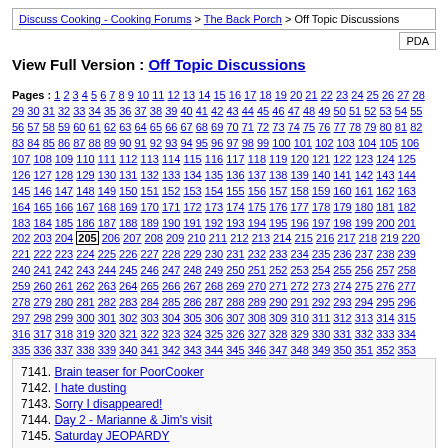Discuss Cooking - Cooking Forums > The Back Porch > Off Topic Discussions
View Full Version : Off Topic Discussions
Pages : 1 2 3 4 5 6 7 8 9 10 11 12 13 14 15 16 17 18 19 20 21 22 23 24 25 26 27 28 29 30 31 32 33 34 35 36 37 38 39 40 41 42 43 44 45 46 47 48 49 50 51 52 53 54 55 56 57 58 59 60 61 62 63 64 65 66 67 68 69 70 71 72 73 74 75 76 77 78 79 80 81 82 83 84 85 86 87 88 89 90 91 92 93 94 95 96 97 98 99 100 101 102 103 104 105 106 107 108 109 110 111 112 113 114 115 116 117 118 119 120 121 122 123 124 125 126 127 128 129 130 131 132 133 134 135 136 137 138 139 140 141 142 143 144 145 146 147 148 149 150 151 152 153 154 155 156 157 158 159 160 161 162 163 164 165 166 167 168 169 170 171 172 173 174 175 176 177 178 179 180 181 182 183 184 185 186 187 188 189 190 191 192 193 194 195 196 197 198 199 200 201 202 203 204 [205] 206 207 208 209 210 211 212 213 214 215 216 217 218 219 220 221 222 223 224 225 226 227 228 229 230 231 232 233 234 235 236 237 238 239 240 241 242 243 244 245 246 247 248 249 250 251 252 253 254 255 256 257 258 259 260 261 262 263 264 265 266 267 268 269 270 271 272 273 274 275 276 277 278 279 280 281 282 283 284 285 286 287 288 289 290 291 292 293 294 295 296 297 298 299 300 301 302 303 304 305 306 307 308 309 310 311 312 313 314 315 316 317 318 319 320 321 322 323 324 325 326 327 328 329 330 331 332 333 334 335 336 337 338 339 340 341 342 343 344 345 346 347 348 349 350 351 352 353 354 355 356 357 358 359 360 361 362 363 364 365 366 367 368 369 370 371 372 373 374 375 376 377 378 379 380 381 382 383 384 385 386 387 388 389 390 391 392 393 394 395 396 397 398 399 400 401 402 403 404 405 406 407 408 409 410 411 412 413 414 415 416 417 418 419 420 421 422 423 424 425 426 427
7141. Brain teaser for PoorCooker
7142. I hate dusting
7143. Sorry I disappeared!
7144. Day 2 - Marianne & Jim's visit
7145. Saturday JEOPARDY